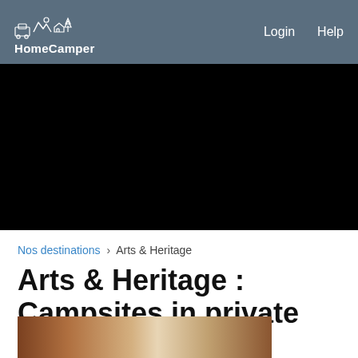HomeCamper — Login  Help
[Figure (photo): Black hero/video area]
Nos destinations › Arts & Heritage
Arts & Heritage : Campsites in private gardens
[Figure (photo): Partial bottom image showing wooden structure]